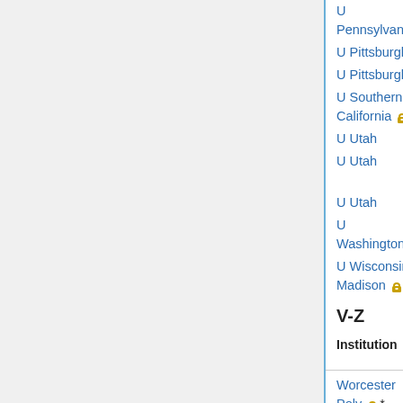| Institution | Name/Type | Apply by | Short lists/offers |
| --- | --- | --- | --- |
| U Pennsylvania |  |  | offers |
| U Pittsburgh |  |  |  |
| U Pittsburgh |  |  |  |
| U Southern California 🔒* | non-TT |  | filled |
| U Utah | Wylie/Burgess |  |  |
| U Utah | RTG alg geom, top |  | offers |
| U Utah | RTG bio |  |  |
| U Washington |  |  |  |
| U Wisconsin, Madison 🔒* | Van Vleck |  | offers |
V-Z
| Institution | Name/Type | Apply by | Short lists/offers |
| --- | --- | --- | --- |
| Worcester Poly 🔒* | postdoc |  |  |
| Wash State U 🔒* | postdoc |  |  |